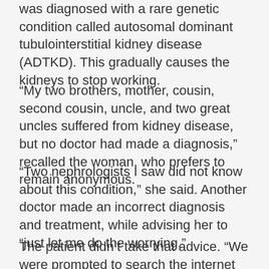was diagnosed with a rare genetic condition called autosomal dominant tubulointerstitial kidney disease (ADTKD). This gradually causes the kidneys to stop working.
“My two brothers, mother, cousin, second cousin, uncle, and two great uncles suffered from kidney disease, but no doctor had made a diagnosis,” recalled the woman, who prefers to remain anonymous.
“Two nephrologists I saw did not know about this condition,” she said. Another doctor made an incorrect diagnosis and treatment, while advising her to “just let me do the worrying.”
The patient didn’t take that advice. “We were prompted to search the internet when several